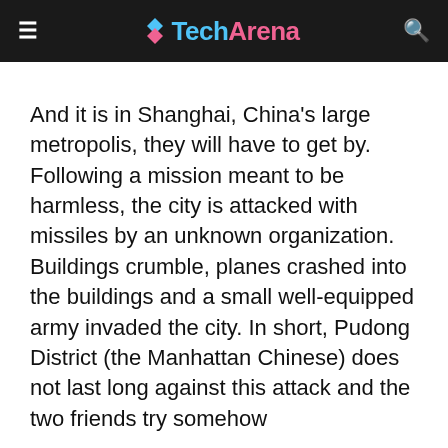TechArena
And it is in Shanghai, China's large metropolis, they will have to get by. Following a mission meant to be harmless, the city is attacked with missiles by an unknown organization. Buildings crumble, planes crashed into the buildings and a small well-equipped army invaded the city. In short, Pudong District (the Manhattan Chinese) does not last long against this attack and the two friends try somehow